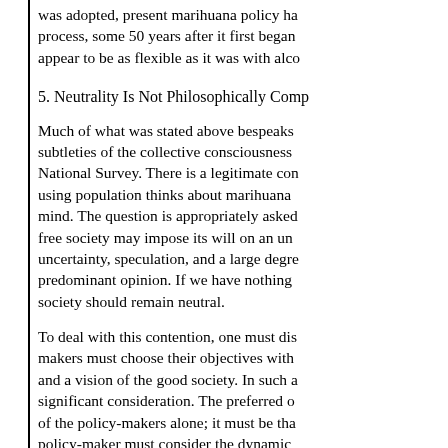was adopted, present marihuana policy has been a slow process, some 50 years after it first began, and does not appear to be as flexible as it was with alco
5. Neutrality Is Not Philosophically Comp
Much of what was stated above bespeaks subtleties of the collective consciousness National Survey. There is a legitimate con using population thinks about marihuana mind. The question is appropriately asked free society may impose its will on an un uncertainty, speculation, and a large degre predominant opinion. If we have nothing society should remain neutral.
To deal with this contention, one must dis makers must choose their objectives with and a vision of the good society. In such a significant consideration. The preferred o of the policy-makers alone; it must be tha policy-maker must consider the dynamic the public mind. Is the public consensus b the public really understand what is at sta the public consensus remain the same?